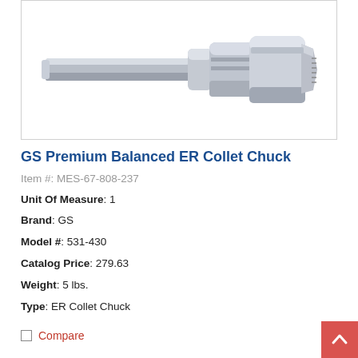[Figure (photo): Photo of a GS Premium Balanced ER Collet Chuck, a metallic cylindrical tool holder with collet nut, shown against a white background inside a bordered box.]
GS Premium Balanced ER Collet Chuck
Item #: MES-67-808-237
Unit Of Measure: 1
Brand: GS
Model #: 531-430
Catalog Price: 279.63
Weight: 5 lbs.
Type: ER Collet Chuck
Compare